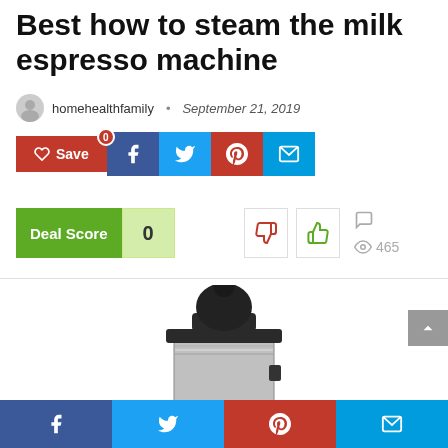Best how to steam the milk espresso machine
homehealthfamily • September 21, 2019
[Figure (screenshot): Social share buttons: red Save/heart button with 0 count, dark blue Facebook button, light blue Twitter button, red Pinterest button, teal Email button]
[Figure (infographic): Deal Score widget showing 0, thumbs down button, thumbs up button, comment icon, eye icon with 465 views]
[Figure (photo): Top portion of a stainless steel espresso machine with black dome top]
[Figure (screenshot): Bottom social share bar with Facebook, Twitter, Pinterest, and Email icons]